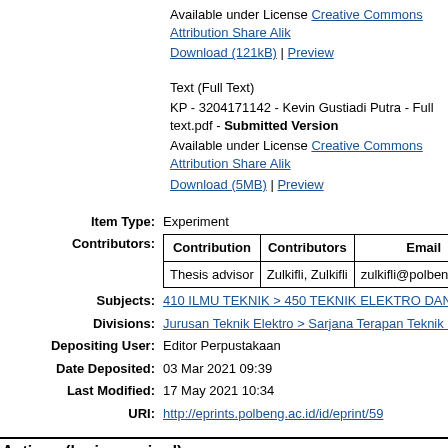Available under License Creative Commons Attribution Share Alike
Download (121kB) | Preview
Text (Full Text)
KP - 3204171142 - Kevin Gustiadi Putra - Full text.pdf - Submitted Version
Available under License Creative Commons Attribution Share Alike
Download (5MB) | Preview
| Contribution | Contributors | Email | N |
| --- | --- | --- | --- |
| Thesis advisor | Zulkifli, Zulkifli | zulkifli@polbeng.ac.id | NID |
Item Type: Experiment
Subjects: 410 ILMU TEKNIK > 450 TEKNIK ELEKTRO DAN INFORM
Divisions: Jurusan Teknik Elektro > Sarjana Terapan Teknik Listrik > L
Depositing User: Editor Perpustakaan
Date Deposited: 03 Mar 2021 09:39
Last Modified: 17 May 2021 10:34
URI: http://eprints.polbeng.ac.id/id/eprint/59
Actions (login required)
View Item